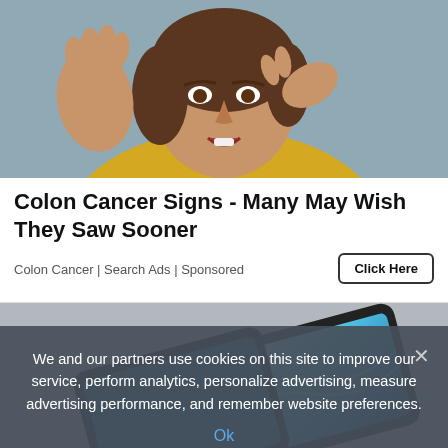[Figure (photo): Woman with brown hair in yellow top pinching nose and holding hand up, against gray background — implied bad smell]
Colon Cancer Signs - Many May Wish They Saw Sooner
Colon Cancer | Search Ads | Sponsored
Click Here
[Figure (photo): Smartphone with glowing blue screen lying on gray background]
We and our partners use cookies on this site to improve our service, perform analytics, personalize advertising, measure advertising performance, and remember website preferences.
Ok